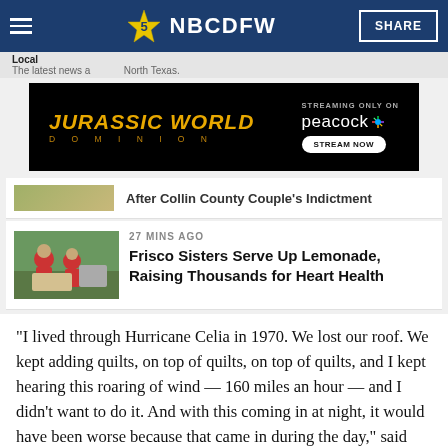Local | NBC DFW | SHARE
[Figure (screenshot): Jurassic World Dominion advertisement banner — black background with gold text. STREAMING ONLY ON peacock STREAM NOW]
After Collin County Couple's Indictment
27 MINS AGO
Frisco Sisters Serve Up Lemonade, Raising Thousands for Heart Health
"I lived through Hurricane Celia in 1970. We lost our roof. We kept adding quilts, on top of quilts, on top of quilts, and I kept hearing this roaring of wind — 160 miles an hour — and I didn't want to do it. And with this coming in at night, it would have been worse because that came in during the day," said Elaine Brundrett, who added, "like everybody says, you can replace things but you can't replace yourselves."